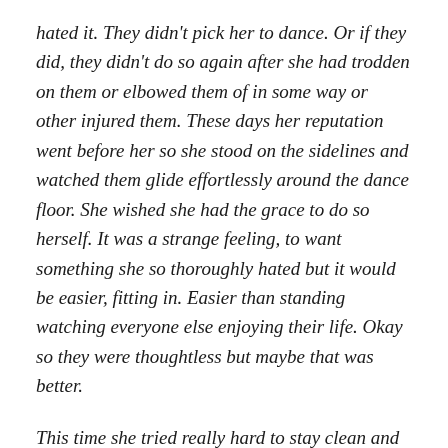hated it. They didn't pick her to dance. Or if they did, they didn't do so again after she had trodden on them or elbowed them of in some way or other injured them. These days her reputation went before her so she stood on the sidelines and watched them glide effortlessly around the dance floor. She wished she had the grace to do so herself. It was a strange feeling, to want something she so thoroughly hated but it would be easier, fitting in. Easier than standing watching everyone else enjoying their life. Okay so they were thoughtless but maybe that was better.
This time she tried really hard to stay clean and tidy by sitting in one place before they had to leave and even her mother was impressed that she hadn't managed to